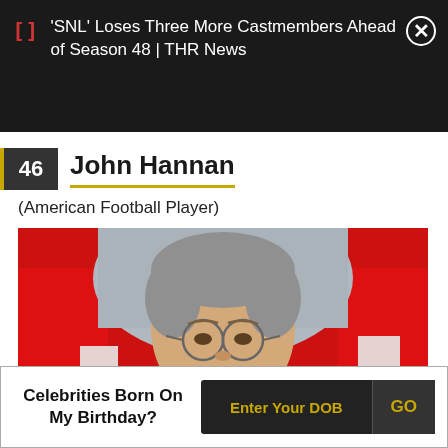'SNL' Loses Three More Castmembers Ahead of Season 48 | THR News
46 John Hannan
(American Football Player)
[Figure (photo): Photo of John Hannan, a middle-aged man with grey hair and glasses, against a red background]
Celebrities Born On My Birthday?
Enter Your DOB
GO